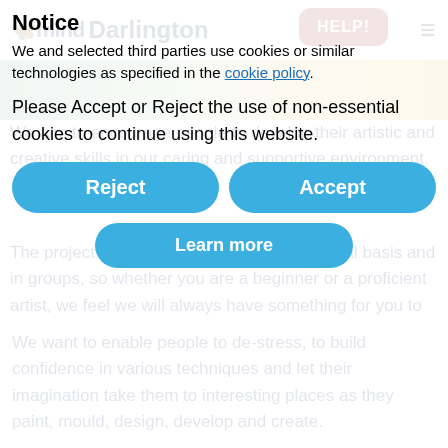[Figure (screenshot): Mind Darlington website header with logo, HELP! button and hamburger menu, overlaid by a cookie consent notice popup]
Notice
We and selected third parties use cookies or similar technologies as specified in the cookie policy.
Please Accept or Reject the use of non-essential cookies to continue using this website.
Reject
Accept
Learn more
The project works with people on an individual basis and in groups, so whether you are a beginner or a proficient artist, we feel we will always have something for you to enjoy. We want to enable people to de-stress, to build confidence in various techniques and let their imagination take them to interesting places as they paint, mould, design, develop and create.
Contact the Art and Crafts Support Worker and discover your inner creative talents. You never know, we might help you to develop a life-long hobby, make you feel